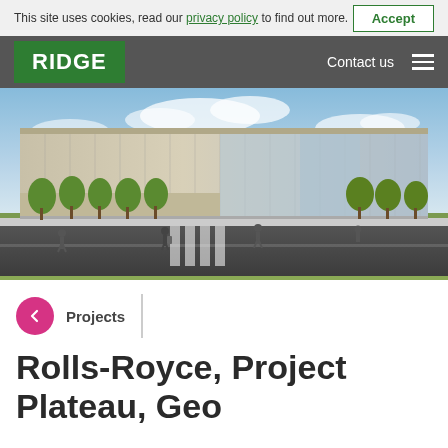This site uses cookies, read our privacy policy to find out more. Accept
RIDGE  Contact us
[Figure (illustration): Architectural rendering of a large modern industrial/manufacturing building (Rolls-Royce facility) with glass facade, seen from street level with pedestrians and trees in foreground under a blue sky.]
← Projects
Rolls-Royce, Project Plateau, Geo